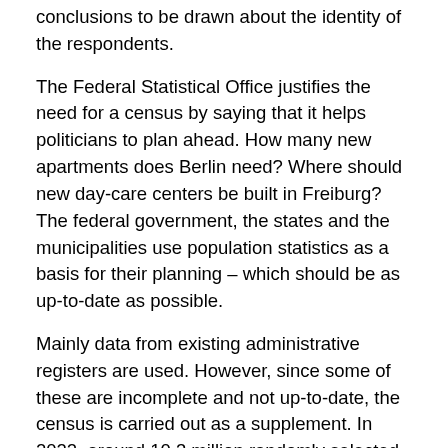conclusions to be drawn about the identity of the respondents.
The Federal Statistical Office justifies the need for a census by saying that it helps politicians to plan ahead. How many new apartments does Berlin need? Where should new day-care centers be built in Freiburg? The federal government, the states and the municipalities use population statistics as a basis for their planning – which should be as up-to-date as possible.
Mainly data from existing administrative registers are used. However, since some of these are incomplete and not up-to-date, the census is carried out as a supplement. In 2022, around 10.3 million randomly selected people will be affected (this corresponds to just over ten percent of the inhabitants of Germany).
In addition, the around 30 million owners of living spaces and